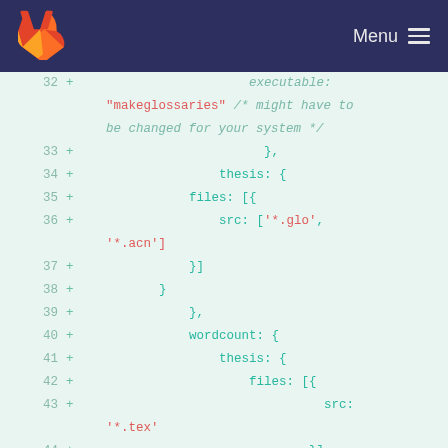GitLab Menu
[Figure (screenshot): GitLab diff view showing code lines 32-48 with green additions (+) on light green background. Code shows JavaScript/YAML configuration with string values in red and comments in italic teal.]